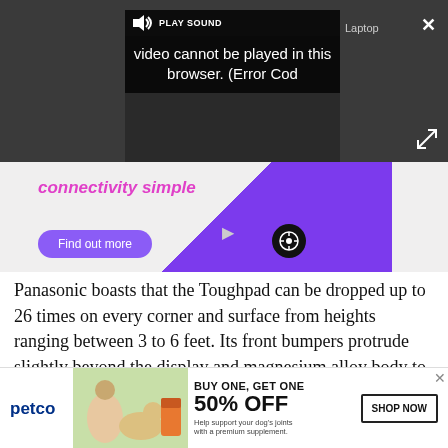[Figure (screenshot): Video player overlay on dark background showing 'PLAY SOUND' button and error message 'Video cannot be played in this browser. (Error Cod' with Laptop label and close/expand buttons]
[Figure (screenshot): Advertisement banner with purple gradient background, text 'connectivity simple' in pink/magenta bold italic, 'Find out more' purple button, and compass-like circular icon]
Panasonic boasts that the Toughpad can be dropped up to 26 times on every corner and surface from heights ranging between 3 to 6 feet. Its front bumpers protrude slightly beyond the display and magnesium alloy body to protect the screen from face-down
[Figure (screenshot): Petco advertisement banner: BUY ONE, GET ONE 50% OFF, Help support your dog's joints with a premium supplement. SHOP NOW button. Shows woman with golden retriever and supplement product.]